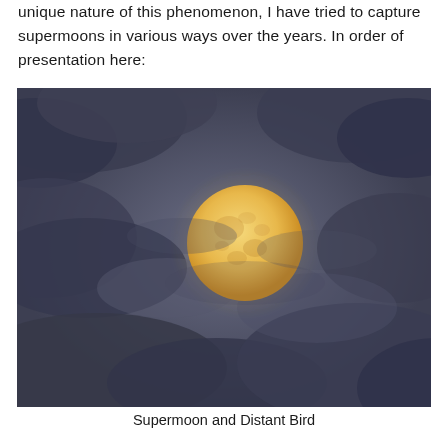unique nature of this phenomenon, I have tried to capture supermoons in various ways over the years. In order of presentation here:
[Figure (photo): Photograph of a large full supermoon glowing yellow-orange against a dark blue-grey cloudy night sky. The moon is positioned slightly right of center in the frame. Wispy dark clouds surround the moon.]
Supermoon and Distant Bird